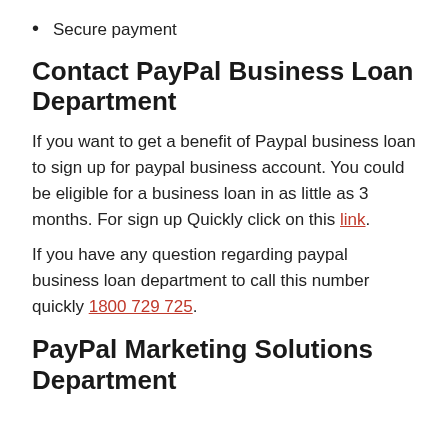Secure payment
Contact PayPal Business Loan Department
If you want to get a benefit of Paypal business loan to sign up for paypal business account. You could be eligible for a business loan in as little as 3 months. For sign up Quickly click on this link.
If you have any question regarding paypal business loan department to call this number quickly 1800 729 725.
PayPal Marketing Solutions Department